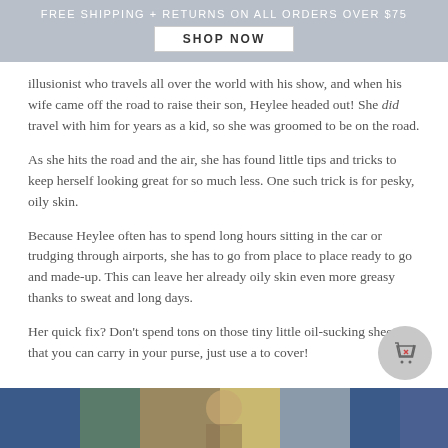FREE SHIPPING + RETURNS ON ALL ORDERS OVER $75
SHOP NOW
illusionist who travels all over the world with his show, and when his wife came off the road to raise their son, Heylee headed out! She did travel with him for years as a kid, so she was groomed to be on the road.
As she hits the road and the air, she has found little tips and tricks to keep herself looking great for so much less. One such trick is for pesky, oily skin.
Because Heylee often has to spend long hours sitting in the car or trudging through airports, she has to go from place to place ready to go and made-up. This can leave her already oily skin even more greasy thanks to sweat and long days.
Her quick fix? Don't spend tons on those tiny little oil-sucking sheets that you can carry in your purse, just use a to cover!
[Figure (photo): Photo strip at the bottom of the page showing a woman and colorful background scenes]